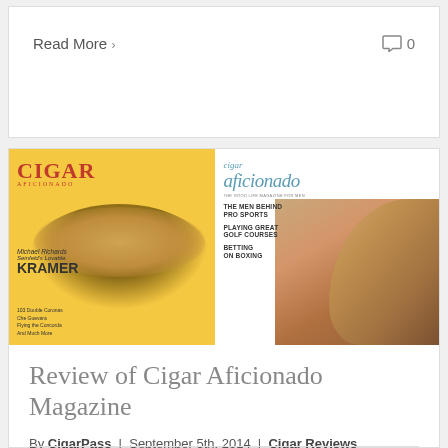Read More ›
0
[Figure (photo): Two Cigar Aficionado magazine covers side by side: left cover features Michael Richards as Seinfeld's Kramer with yellow background, right cover features a woman holding a cigar with 'cigar aficionado' masthead and headlines: THE MEN BEHIND PRO SPORTS, PLAYING GREAT GOLF COURSES, BETTING ON BOXING]
Review of Cigar Aficionado Magazine
By CigarPass | September 5th, 2014 | Cigar Reviews